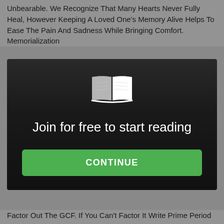Unbearable. We Recognize That Many Hearts Never Fully Heal, However Keeping A Loved One’s Memory Alive Helps To Ease The Pain And Sadness While Bringing Comfort. Memorialization
[Figure (illustration): Dark modal overlay with a white open book icon at top center, white text 'Join for free to start reading', and a green CONTINUE button below]
Factor Out The GCF. If You Can’t Factor It Write Prime Period